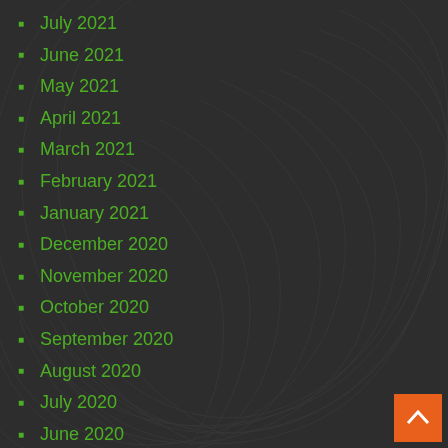July 2021
June 2021
May 2021
April 2021
March 2021
February 2021
January 2021
December 2020
November 2020
October 2020
September 2020
August 2020
July 2020
June 2020
May 2020